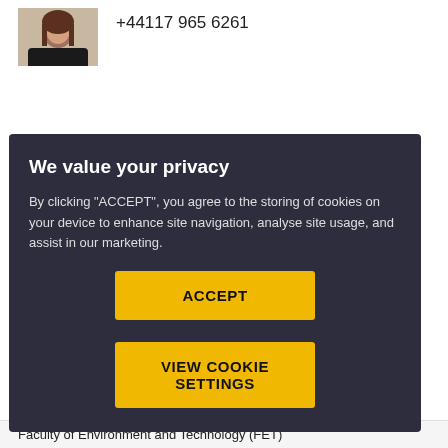+44117 965 6261
James Whiting
Senior Lecturer
[Figure (photo): Headshot photo of a woman]
[Figure (photo): Headshot photo of James Whiting, a man]
We value your privacy
By clicking "ACCEPT", you agree to the storing of cookies on your device to enhance site navigation, analyse site usage, and assist in our marketing.
ACCEPT
VIEW COOKIE SETTINGS
Faculty of Environment and Technology (FET)